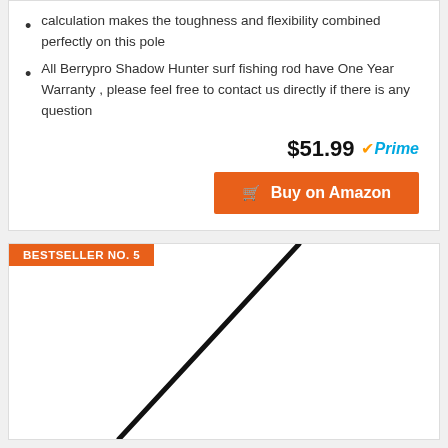calculation makes the toughness and flexibility combined perfectly on this pole
All Berrypro Shadow Hunter surf fishing rod have One Year Warranty , please feel free to contact us directly if there is any question
$51.99 Prime
Buy on Amazon
BESTSELLER NO. 5
[Figure (photo): A diagonal fishing rod shown against a white background]